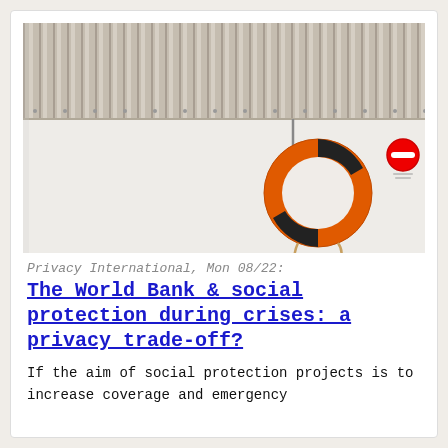[Figure (photo): Photograph of an orange life preserver ring hanging on a white wall, with corrugated metal paneling above. A no-entry sign is visible on the upper right of the white wall.]
Privacy International, Mon 08/22:
The World Bank & social protection during crises: a privacy trade-off?
If the aim of social protection projects is to increase coverage and emergency